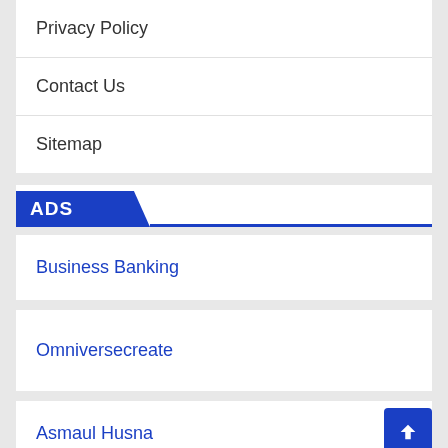Privacy Policy
Contact Us
Sitemap
ADS
Business Banking
Omniversecreate
Asmaul Husna